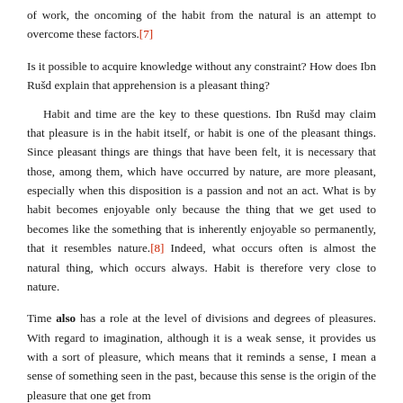of work, the oncoming of the habit from the natural is an attempt to overcome these factors.[7]
Is it possible to acquire knowledge without any constraint? How does Ibn Rušd explain that apprehension is a pleasant thing?
Habit and time are the key to these questions. Ibn Rušd may claim that pleasure is in the habit itself, or habit is one of the pleasant things. Since pleasant things are things that have been felt, it is necessary that those, among them, which have occurred by nature, are more pleasant, especially when this disposition is a passion and not an act. What is by habit becomes enjoyable only because the thing that we get used to becomes like the something that is inherently enjoyable so permanently, that it resembles nature.[8] Indeed, what occurs often is almost the natural thing, which occurs always. Habit is therefore very close to nature.
Time also has a role at the level of divisions and degrees of pleasures. With regard to imagination, although it is a weak sense, it provides us with a sort of pleasure, which means that it reminds a sense, I mean a sense of something seen in the past, because this sense is the origin of the pleasure that one get from